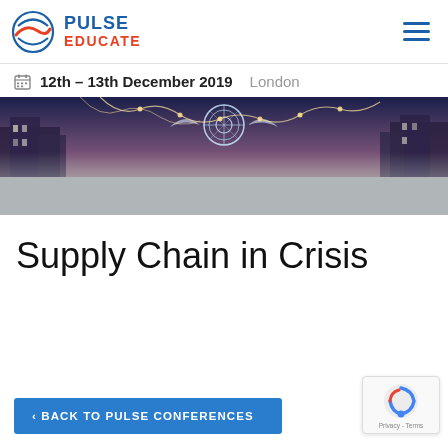[Figure (logo): Pulse Educate logo with globe/wave icon and text PULSE EDUCATE]
[Figure (other): Hamburger menu icon (three horizontal lines) in blue]
12th – 13th December 2019   London
[Figure (photo): Hero banner image: London street at night with festive lights and ornamental bird/wheel decorations, lower half fades to grey]
Supply Chain in Crisis
< BACK TO PULSE CONFERENCES